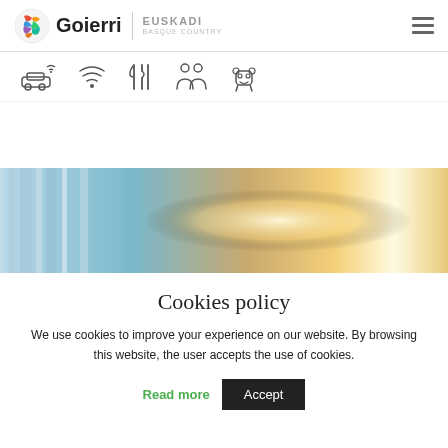Goierri | EUSKADI BASQUE COUNTRY
[Figure (illustration): Row of five icons: car with signal, wifi/signal arc, cutlery/utensils, two people/accessibility, robot/bear figure]
[Figure (photo): Abstract interior photo with blue and warm golden/brown tones, light bokeh in center]
Cookies policy
We use cookies to improve your experience on our website. By browsing this website, the user accepts the use of cookies.
Read more  Accept